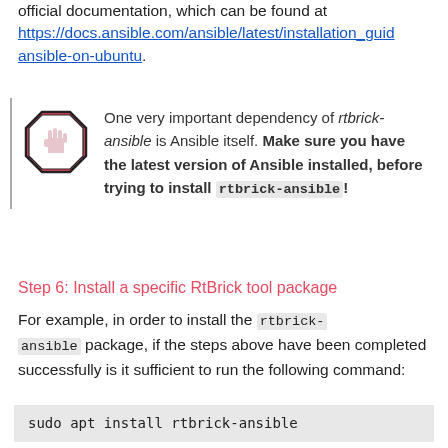official documentation, which can be found at https://docs.ansible.com/ansible/latest/installation_guide/ansible-on-ubuntu.
One very important dependency of rtbrick-ansible is Ansible itself. Make sure you have the latest version of Ansible installed, before trying to install rtbrick-ansible!
Step 6: Install a specific RtBrick tool package
For example, in order to install the rtbrick-ansible package, if the steps above have been completed successfully is it sufficient to run the following command:
sudo apt install rtbrick-ansible